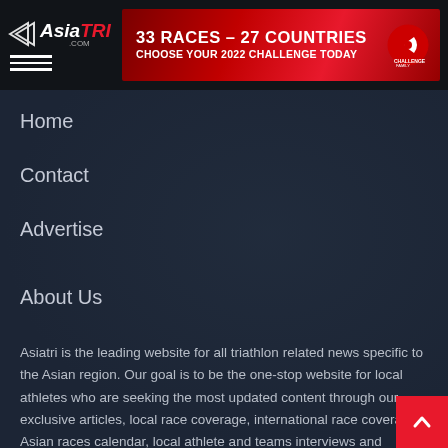AsiaTRI.com
[Figure (infographic): Challenge Family banner ad: 33 RACES - 27 COUNTRIES, CHOOSE YOUR 2022 CHALLENGE TODAY]
Home
Contact
Advertise
About Us
Asiatri is the leading website for all triathlon related news specific to the Asian region. Our goal is to be the one-stop website for local athletes who are seeking the most updated content through our exclusive articles, local race coverage, international race coverage, Asian races calendar, local athlete and teams interviews and everything that is relevant to any Asian based triathlete.